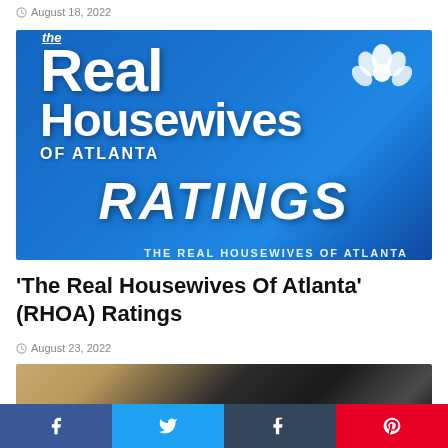August 18, 2022
[Figure (photo): The Real Housewives of Atlanta Ratings promotional image with blue gradient background showing the show logo and the word RATINGS in large italic text, with peacock logo icon in upper right]
'The Real Housewives Of Atlanta' (RHOA) Ratings
August 23, 2022
[Figure (photo): Partial image with warm golden and dark tones, appears to be a decorative or show-related image]
Social share buttons: Facebook, Twitter, Tumblr, Pinterest